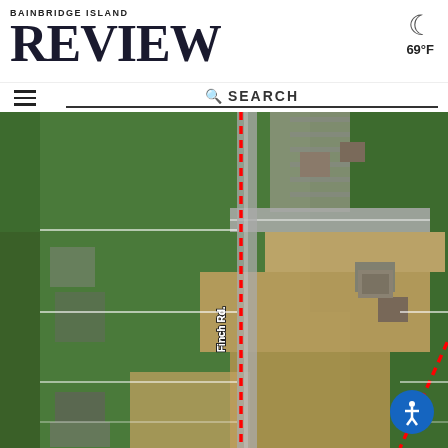Bainbridge Island Review
69°F
SEARCH
[Figure (map): Aerial satellite map showing a property area on Bainbridge Island with red dashed boundary lines. Street labels visible: Finch Rd., Sportsman Club Rd. NE. The map shows green forested areas, buildings, parking lots, and roads.]